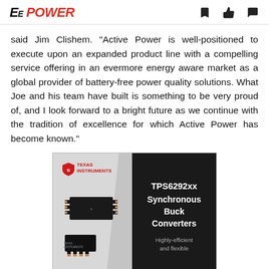EE POWER
said Jim Clishem. "Active Power is well-positioned to execute upon an expanded product line with a compelling service offering in an evermore energy aware market as a global provider of battery-free power quality solutions. What Joe and his team have built is something to be very proud of, and I look forward to a bright future as we continue with the tradition of excellence for which Active Power has become known."
[Figure (illustration): Texas Instruments advertisement for TPS6292xx Synchronous Buck Converters. Left side shows TI logo and images of small black IC chips on a light gray background. Right side has dark background with white bold text reading 'TPS6292xx Synchronous Buck Converters' and smaller gray text 'Highly-efficient and flexible'.]